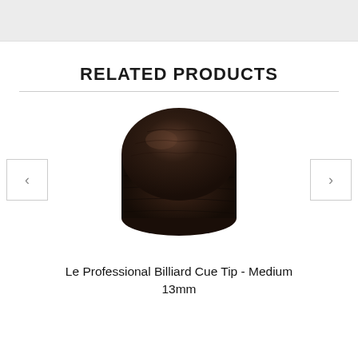[Figure (other): Top partial image bar, cropped from previous section]
RELATED PRODUCTS
[Figure (photo): Dark brown leather billiard cue tip, round puck shape, viewed from slightly above angle]
Le Professional Billiard Cue Tip - Medium 13mm